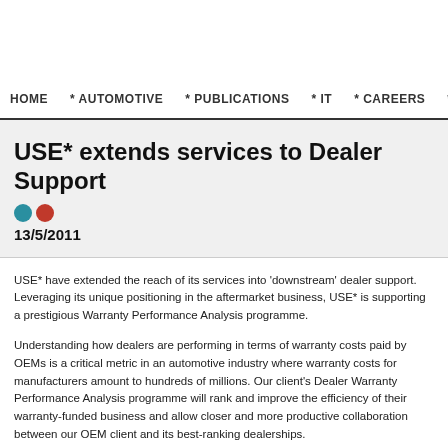HOME  * AUTOMOTIVE  * PUBLICATIONS  * IT  * CAREERS  * CU...
USE* extends services to Dealer Support
13/5/2011
USE* have extended the reach of its services into 'downstream' dealer support... unique positioning in the aftermarket business, USE* is supporting a prestigious Warranty Performance Analysis programme.
Understanding how dealers are performing in terms of warranty costs paid by... metric in an automotive industry where warranty costs for manufacturers amount to millions. Our client's Dealer Warranty Performance Analysis programme will rank the efficiency of their warranty-funded business and allow closer and more productive collaboration between our OEM client and its best-ranking dealerships.
Analysis of dealers' warranty performance will consider factors such as proportion...